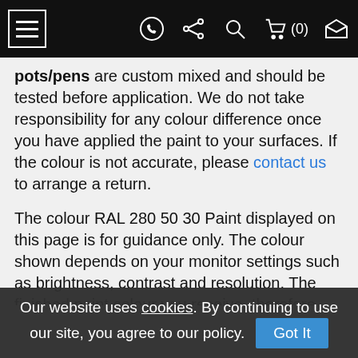Navigation bar with hamburger menu, WhatsApp, share, search, cart (0), and envelope icons
pots/pens are custom mixed and should be tested before application. We do not take responsibility for any colour difference once you have applied the paint to your surfaces. If the colour is not accurate, please contact us to arrange a return.
The colour RAL 280 50 30 Paint displayed on this page is for guidance only. The colour shown depends on your monitor settings such as brightness, contrast and resolution. The finished paint colour you receive, therefore, may not be as exact as depicted on a screen. Some colours may vary upto 20% compared whats displayed on a screen due to this reasons.
Our website uses cookies. By continuing to use our site, you agree to our policy. Got It